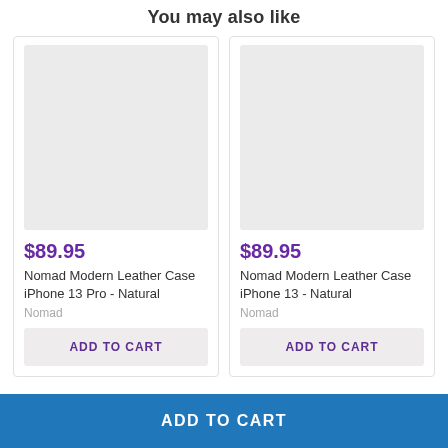You may also like
[Figure (photo): Gray placeholder image for product card 1]
$89.95
Nomad Modern Leather Case iPhone 13 Pro - Natural
Nomad
[Figure (photo): Gray placeholder image for product card 2]
$89.95
Nomad Modern Leather Case iPhone 13 - Natural
Nomad
ADD TO CART